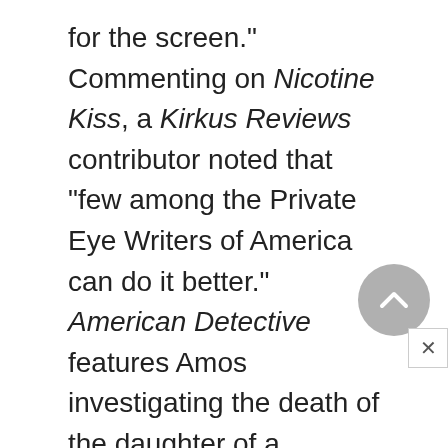for the screen." Commenting on Nicotine Kiss, a Kirkus Reviews contributor noted that "few among the Private Eye Writers of America can do it better." American Detective features Amos investigating the death of the daughter of a legendary Detroit Tigers pitcher. "Estleman's prose is as gritty and compelling as ever," wrote a Publishers Weekly contributor. The author has also continued his contributions to the "Peter Macklin"